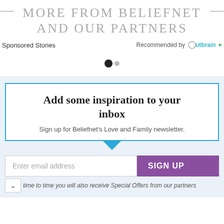MORE FROM BELIEFNET AND OUR PARTNERS
Sponsored Stories
Recommended by Outbrain
Add some inspiration to your inbox
Sign up for Beliefnet's Love and Family newsletter.
Enter email address
SIGN UP
time to time you will also receive Special Offers from our partners